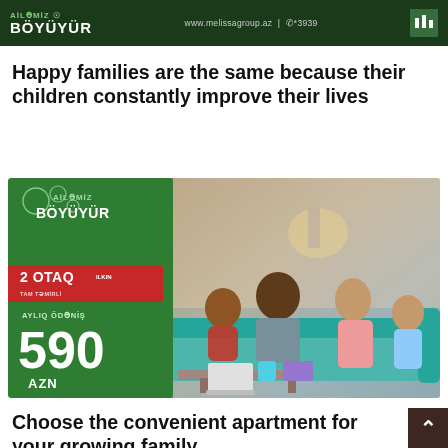[Figure (illustration): Top banner advertisement for Melissa Group. Dark green background with text 'Ailəmiz BÖYÜYÜR', website www.melissagroup.az, phone *3939, and Melissa logo on right.]
Happy families are the same because their children constantly improve their lives
[Figure (photo): Real estate advertisement image. Left green panel with 'Ailəmiz BÖYÜYÜR' branding, red tag '2 OTAQ TAM TƏMİRLİ', 'AYLIQ ÖDƏNİŞ 590 AZN' text. Right side shows a happy family (father, mother, two children) sitting on a teal sofa in an apartment.]
Choose the convenient apartment for your growing family